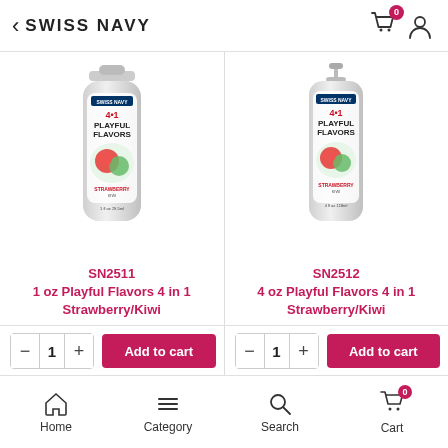< SWISS NAVY
[Figure (photo): Swiss Navy 4 in 1 Playful Flavors Strawberry/Kiwi lubricant bottle, 1 oz]
SN2511
1 oz Playful Flavors 4 in 1 Strawberry/Kiwi
[Figure (photo): Swiss Navy 4 in 1 Playful Flavors Strawberry/Kiwi lubricant bottle, 4 oz]
SN2512
4 oz Playful Flavors 4 in 1 Strawberry/Kiwi
Home  Category  Search  Cart